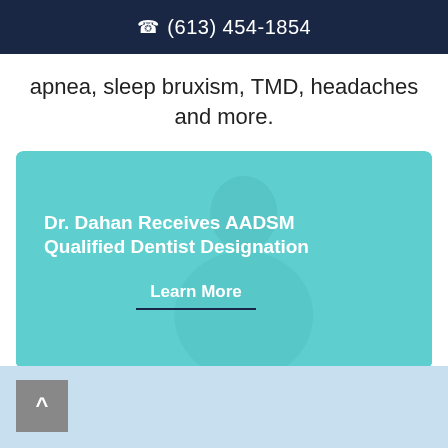(613) 454-1854
apnea, sleep bruxism, TMD, headaches and more.
[Figure (photo): A card with a teal/turquoise overlay showing a person (Dr. Dahan) sitting at a desk, with white bold text reading 'Dr. Dahan Receives AADSM Qualified Dentist Designation' and a 'Learn More' link with an underline beneath it.]
[Figure (screenshot): Bottom section showing a light blue strip with a grey back-to-top button with an up arrow (^) in the lower left corner.]